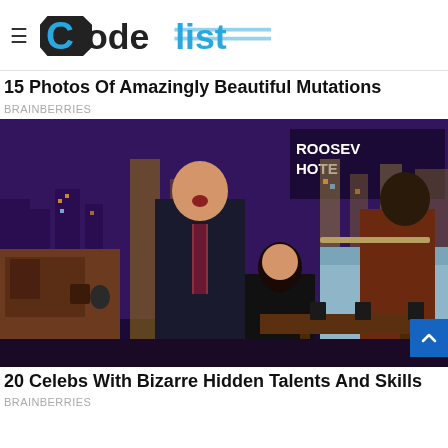CodeList
15 Photos Of Amazingly Beautiful Mutations
BRAINBERRIES
[Figure (photo): TV talk show scene: host in suit leaning forward with surprised expression, woman in black dress bending down in center, man in brown leather jacket playing flute on couch at right. Purple stage backdrop with city skyline. Roosevelt Hotel sign visible.]
20 Celebs With Bizarre Hidden Talents And Skills
BRAINBERRIES